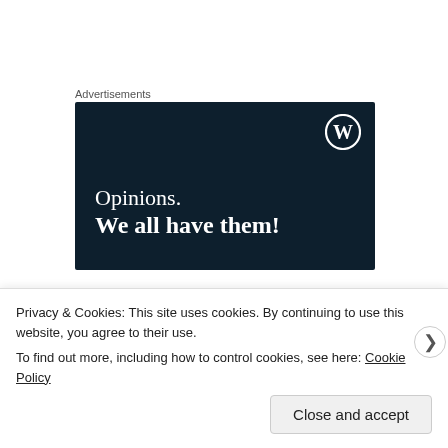Advertisements
[Figure (other): WordPress advertisement banner with dark navy background showing WordPress logo (W in circle) in top right, text 'Opinions.' and 'We all have them!' in white serif font]
Bevitt starts. A couple of low, flat, cagey serves. 2-0 up.
Privacy & Cookies: This site uses cookies. By continuing to use this website, you agree to their use.
To find out more, including how to control cookies, see here: Cookie Policy
Close and accept